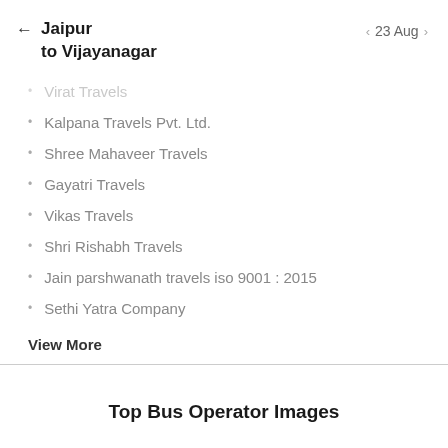Jaipur to Vijayanagar   ← 23 Aug →
Virat Travels
Kalpana Travels Pvt. Ltd.
Shree Mahaveer Travels
Gayatri Travels
Vikas Travels
Shri Rishabh Travels
Jain parshwanath travels iso 9001 : 2015
Sethi Yatra Company
View More
Top Bus Operator Images